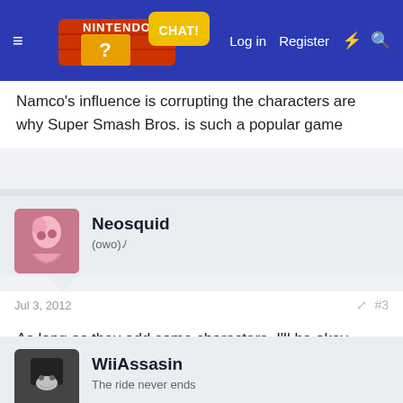Nintendo Chat - Log in  Register
Namco's influence is corrupting the characters are why Super Smash Bros. is such a popular game
Neosquid
(owo)ﾉ
Jul 3, 2012  #3
As long as they add some characters, I'll be okay....
WiiAssasin
The ride never ends